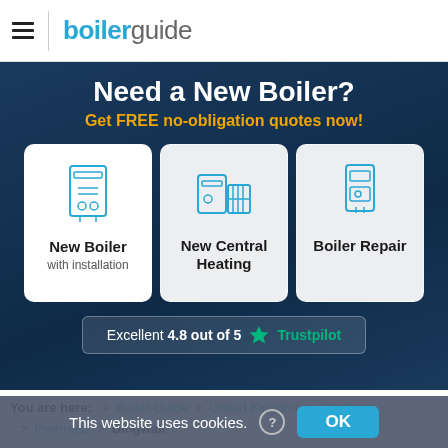[Figure (logo): Boiler Guide logo with hamburger menu icon and divider line]
Need a New Boiler?
Get FREE no-obligation quotes now!
[Figure (illustration): Three service cards: New Boiler with installation, New Central Heating, Boiler Repair — each with a line-art icon]
Excellent 4.8 out of 5 ★ Trustpilot
You are here: > Boiler Guide > United Kingdom > Scotland > Inverness > Dingwall
This website uses cookies. ? OK